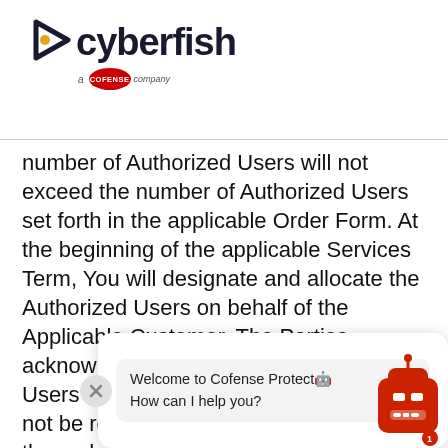[Figure (logo): Cyberfish logo with arrow icon and 'a Cofense company' badge]
number of Authorized Users will not exceed the number of Authorized Users set forth in the applicable Order Form. At the beginning of the applicable Services Term, You will designate and allocate the Authorized Users on behalf of the Applicable Customer. The Parties acknowledge and agree that Authorized Users may not be reassigned or replaced (except for those designated by You to act as administrators) prior to the expiration of the applicable Services Term. Any breach by You and Your Authorized Users of this Section may in Our sole discretion, suspension Authorized Users' access to the Services and or
[Figure (screenshot): Chatbot overlay with close button, bubble saying 'Welcome to Cofense Protect How can I help you?' and robot avatar]